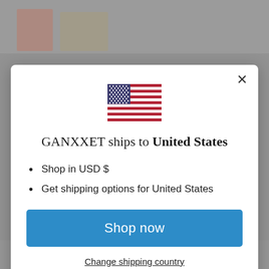[Figure (screenshot): Background showing product images of yarn/thread spools on a grey background]
[Figure (illustration): US flag SVG icon centered in the modal dialog]
GANXXET ships to United States
Shop in USD $
Get shipping options for United States
Shop now
Change shipping country
4 Reviews